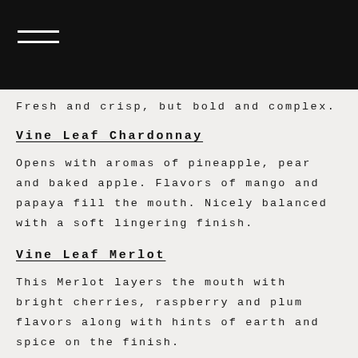Fresh and crisp, but bold and complex.
Vine Leaf Chardonnay
Opens with aromas of pineapple, pear and baked apple. Flavors of mango and papaya fill the mouth. Nicely balanced with a soft lingering finish.
Vine Leaf Merlot
This Merlot layers the mouth with bright cherries, raspberry and plum flavors along with hints of earth and spice on the finish.